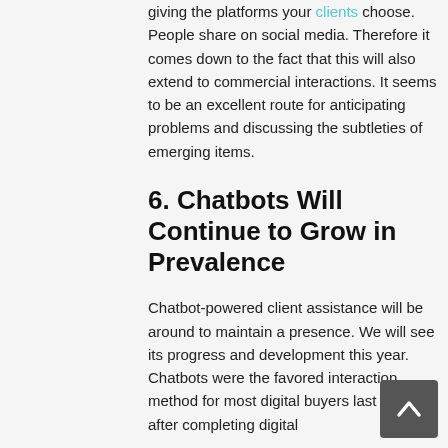giving the platforms your clients choose. People share on social media. Therefore it comes down to the fact that this will also extend to commercial interactions. It seems to be an excellent route for anticipating problems and discussing the subtleties of emerging items.
6. Chatbots Will Continue to Grow in Prevalence
Chatbot-powered client assistance will be around to maintain a presence. We will see its progress and development this year. Chatbots were the favored interaction method for most digital buyers last year after completing digital